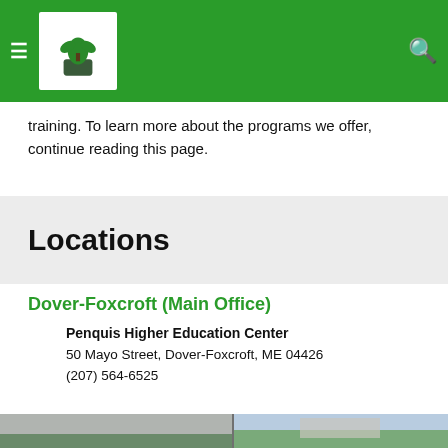PVAEC — navigation header with logo, hamburger menu, and search icon
training. To learn more about the programs we offer, continue reading this page.
Locations
Dover-Foxcroft (Main Office)
Penquis Higher Education Center
50 Mayo Street, Dover-Foxcroft, ME 04426
(207) 564-6525
[Figure (photo): Exterior photo of building — two-panel image showing a brick and panel building exterior with trees and blue sky]